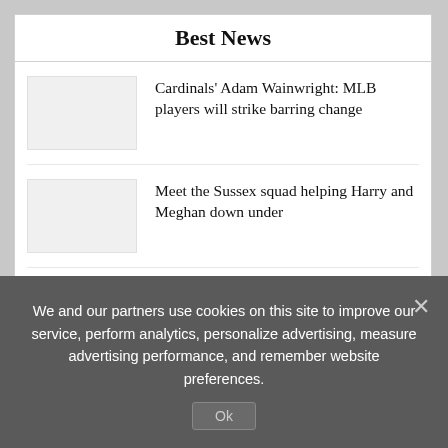Best News
Cardinals' Adam Wainwright: MLB players will strike barring change
Meet the Sussex squad helping Harry and Meghan down under
Two charged after large police raid in strategic area of Finland
Horse racing tips: Punchestown Day 1 trends – we help you find the winner of Tuesday's Grade 1 contests
Personal reasons mean Israel Folau is not with Catalans Dragons – not a move
We and our partners use cookies on this site to improve our service, perform analytics, personalize advertising, measure advertising performance, and remember website preferences.